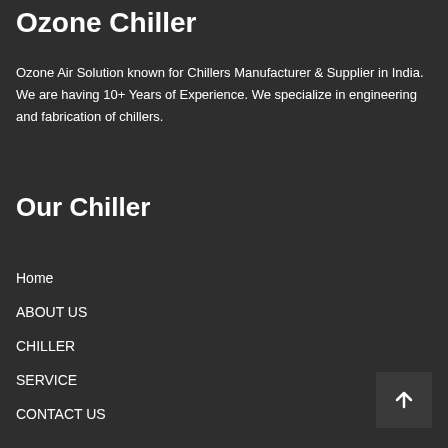Ozone Chiller
Ozone Air Solution known for Chillers Manufacturer & Supplier in India. We are having 10+ Years of Experience. We specialize in engineering and fabrication of chillers.
Our Chiller
Home
ABOUT US
CHILLER
SERVICE
CONTACT US